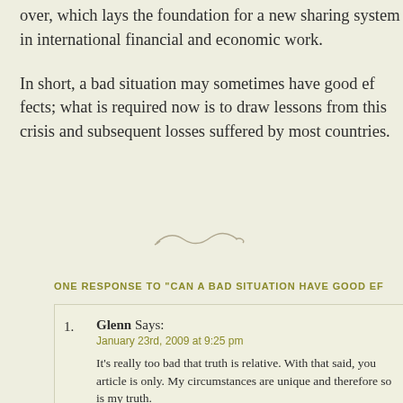over, which lays the foundation for a new sharing system in international financial and economic work.
In short, a bad situation may sometimes have good effects; what is required now is to draw lessons from this crisis and subsequent losses suffered by most countries.
[Figure (illustration): Decorative tilde/wave divider symbol]
ONE RESPONSE TO "CAN A BAD SITUATION HAVE GOOD EF..."
Glenn Says:
January 23rd, 2009 at 9:25 pm
It's really too bad that truth is relative. With that said, you article is only. My circumstances are unique and therefore so is my truth.

By defn, truth doesn't change. That is the nature of truth. To decla... negates its value and the fact that society(ies) are built on such fo...